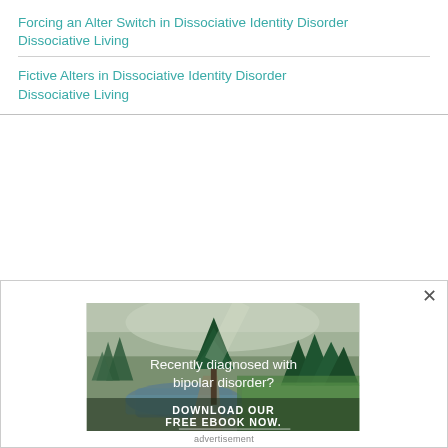Forcing an Alter Switch in Dissociative Identity Disorder
Dissociative Living
Fictive Alters in Dissociative Identity Disorder
Dissociative Living
[Figure (illustration): Advertisement modal with forest/nature background image showing a river scene with pine trees and text 'Recently diagnosed with bipolar disorder? DOWNLOAD OUR FREE EBOOK NOW.' with a close (×) button. Caption below reads 'advertisement'.]
advertisement